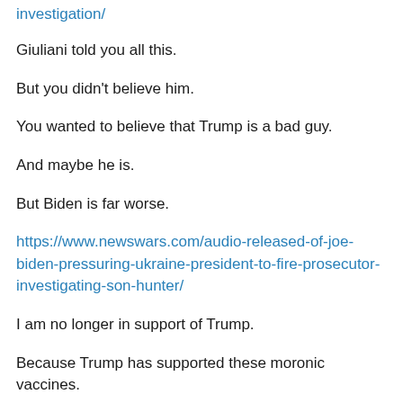investigation/
Giuliani told you all this.
But you didn’t believe him.
You wanted to believe that Trump is a bad guy.
And maybe he is.
But Biden is far worse.
https://www.newswars.com/audio-released-of-joe-biden-pressuring-ukraine-president-to-fire-prosecutor-investigating-son-hunter/
I am no longer in support of Trump.
Because Trump has supported these moronic vaccines.